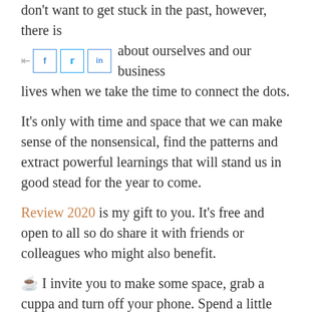don't want to get stuck in the past, however, there is so much we can learn about ourselves and our business lives when we take the time to connect the dots.
It's only with time and space that we can make sense of the nonsensical, find the patterns and extract powerful learnings that will stand us in good stead for the year to come.
Review 2020 is my gift to you. It's free and open to all so do share it with friends or colleagues who might also benefit.
☕ I invite you to make some space, grab a cuppa and turn off your phone. Spend a little time on you.
If you would prefer to work directly with me on this, have a look at the 4-In-4 Coaching Engagement I currently have on offer or send me a mail and we'll